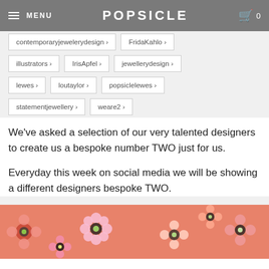MENU  POPSICLE  0
contemporaryjewelerydesign ›
FridaKahlo ›
illustrators ›
IrisApfel ›
jewellerydesign ›
lewes ›
loutaylor ›
popsiclelewes ›
statementjewellery ›
weare2 ›
We've asked a selection of our very talented designers to create us a bespoke number TWO just for us.
Everyday this week on social media we will be showing a different designers bespoke TWO.
[Figure (illustration): Floral pattern illustration on coral/salmon pink background with decorative flowers]